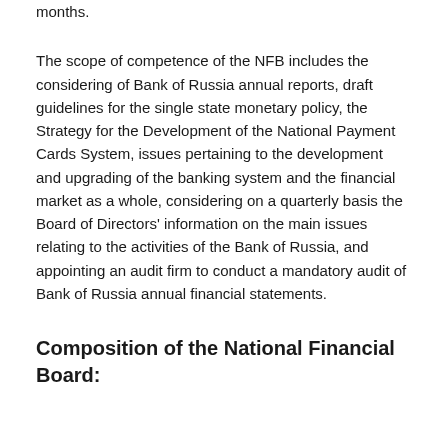Board meetings are held at least once every three months.
The scope of competence of the NFB includes the considering of Bank of Russia annual reports, draft guidelines for the single state monetary policy, the Strategy for the Development of the National Payment Cards System, issues pertaining to the development and upgrading of the banking system and the financial market as a whole, considering on a quarterly basis the Board of Directors' information on the main issues relating to the activities of the Bank of Russia, and appointing an audit firm to conduct a mandatory audit of Bank of Russia annual financial statements.
Composition of the National Financial Board: